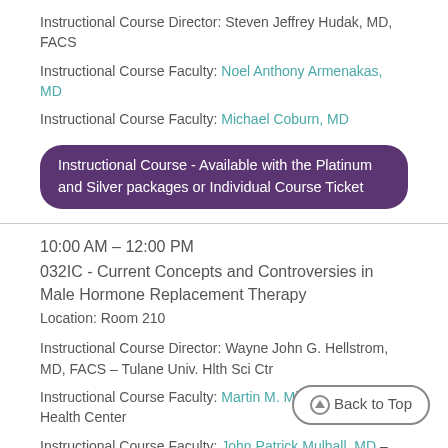Instructional Course Director: Steven Jeffrey Hudak, MD, FACS
Instructional Course Faculty: Noel Anthony Armenakas, MD
Instructional Course Faculty: Michael Coburn, MD
Instructional Course - Available with the Platinum and Silver packages or Individual Course Ticket
10:00 AM – 12:00 PM
032IC - Current Concepts and Controversies in Male Hormone Replacement Therapy
Location: Room 210
Instructional Course Director: Wayne John G. Hellstrom, MD, FACS – Tulane Univ. Hlth Sci Ctr
Instructional Course Faculty: Martin M. Miner, MD – Miriam Hospital/Brown University Memorial Health Center
Instructional Course Faculty: John Patrick Mulhall, MD – MSKCC
Instructional Course Faculty: Mohit Khera, MD, MPH, MBA – Scott Department of Urology